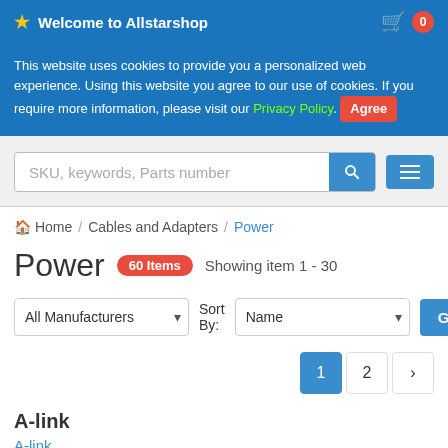Welcome to Allstarshop
This website uses cookies to provide you a personalized web experience. Using this website you agree to our use of cookies. If you require more information, please visit our Privacy Policy. Agree
SKU, keywords, Parts number
Home / Cables and Adapters / Power
Power 60 Items Showing item 1 - 30
All Manufacturers Sort By: Name Go
1 2 >
A-link
A-link